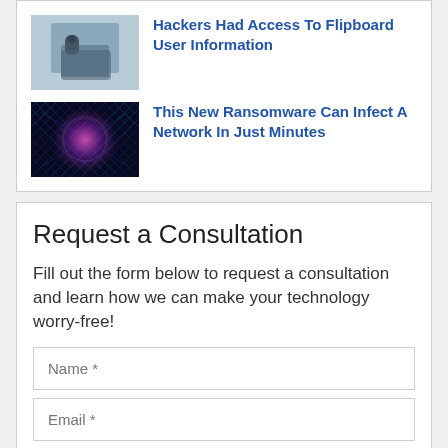Hackers Had Access To Flipboard User Information
[Figure (photo): Thumbnail image of a person holding a smartphone, suggesting a cybersecurity breach]
This New Ransomware Can Infect A Network In Just Minutes
[Figure (photo): Dark digital network visualization with glowing purple/pink orb in center against dark blue background]
Request a Consultation
Fill out the form below to request a consultation and learn how we can make your technology worry-free!
Name *
Email *
Phone
Company
Reason for reaching out?